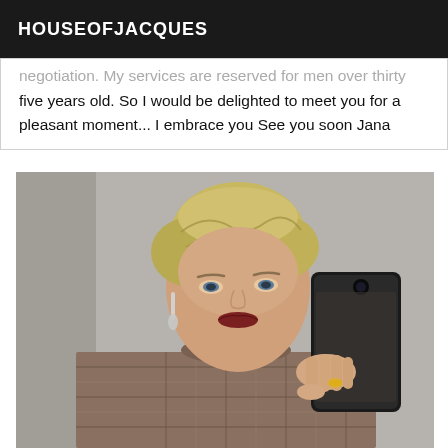HOUSEOFJACQUES
negotiation. My services are reserved for men over thirty five years old. So I would be delighted to meet you for a pleasant moment... I embrace you See you soon Jana
[Figure (photo): Mirror selfie photo of a blonde woman with short upswept hair, wearing dangling earrings, dark lip color, and a plaid/houndstooth turtleneck top, holding a black phone case up to take the photo.]